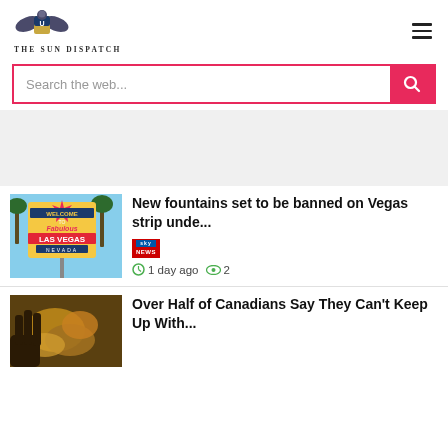[Figure (logo): The Sun Dispatch logo with eagle emblem and text]
Search the web...
[Figure (photo): Welcome to Fabulous Las Vegas Nevada sign]
New fountains set to be banned on Vegas strip unde...
1 day ago  2
[Figure (photo): Food or Canadian-related image]
Over Half of Canadians Say They Can't Keep Up With...